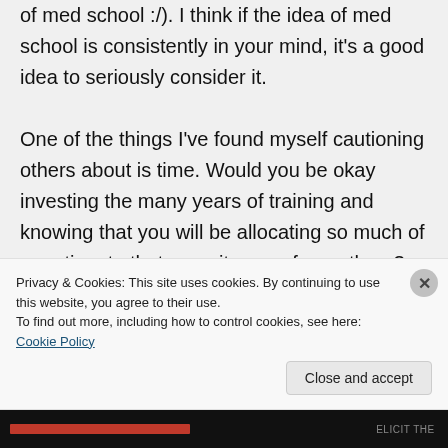of med school :/). I think if the idea of med school is consistently in your mind, it's a good idea to seriously consider it.

One of the things I've found myself cautioning others about is time. Would you be okay investing the many years of training and knowing that you will be allocating so much of your time to that pursuit, away from others? Personally, I have felt lucky to be able to start a family
Privacy & Cookies: This site uses cookies. By continuing to use this website, you agree to their use.
To find out more, including how to control cookies, see here: Cookie Policy
Close and accept